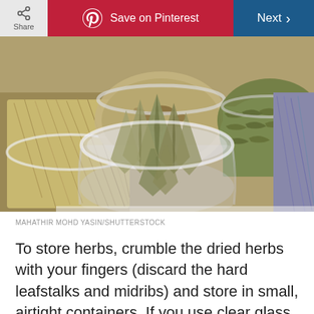Share | Save on Pinterest | Next
[Figure (photo): Three glass jars filled with dried herbs and spices. The center jar contains dried bay leaves standing upright. The left jar contains dried grass-like herbs. The upper right jar contains dried leafy herbs. The right side shows another jar with purple dried herbs.]
MAHATHIR MOHD YASIN/SHUTTERSTOCK
To store herbs, crumble the dried herbs with your fingers (discard the hard leafstalks and midribs) and store in small, airtight containers. If you use clear glass